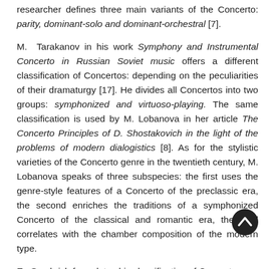researcher defines three main variants of the Concerto: parity, dominant-solo and dominant-orchestral [7].
M. Tarakanov in his work Symphony and Instrumental Concerto in Russian Soviet music offers a different classification of Concertos: depending on the peculiarities of their dramaturgy [17]. He divides all Concertos into two groups: symphonized and virtuoso-playing. The same classification is used by M. Lobanova in her article The Concerto Principles of D. Shostakovich in the light of the problems of modern dialogistics [8]. As for the stylistic varieties of the Concerto genre in the twentieth century, M. Lobanova speaks of three subspecies: the first uses the genre-style features of a Concerto of the preclassic era, the second enriches the traditions of a symphonized Concerto of the classical and romantic era, the third correlates with the chamber composition of the modern type.
E. Sambrish formulates his classification of Concertos,